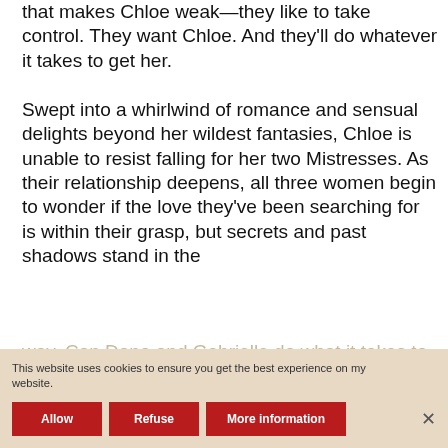that makes Chloe weak—they like to take control. They want Chloe. And they'll do whatever it takes to get her.
Swept into a whirlwind of romance and sensual delights beyond her wildest fantasies, Chloe is unable to resist falling for her two Mistresses. As their relationship deepens, all three women begin to wonder if the love they've been searching for is within their grasp, but secrets and past shadows stand in the way. Can Dana and Gabrielle do what it takes to make Chloe theirs for good?
Avai…t:
Amazon
This website uses cookies to ensure you get the best experience on my website.